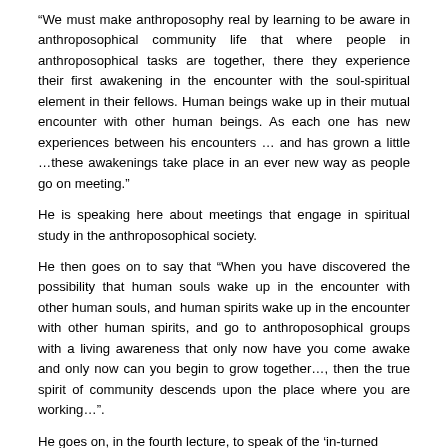“We must make anthroposophy real by learning to be aware in anthroposophical community life that where people in anthroposophical tasks are together, there they experience their first awakening in the encounter with the soul-spiritual element in their fellows. Human beings wake up in their mutual encounter with other human beings. As each one has new experiences between his encounters … and has grown a little …these awakenings take place in an ever new way as people go on meeting.”
He is speaking here about meetings that engage in spiritual study in the anthroposophical society.
He then goes on to say that “When you have discovered the possibility that human souls wake up in the encounter with other human souls, and human spirits wake up in the encounter with other human spirits, and go to anthroposophical groups with a living awareness that only now have you come awake and only now can you begin to grow together…, then the true spirit of community descends upon the place where you are working…”.
He goes on, in the fourth lecture, to speak of the ‘in-turned